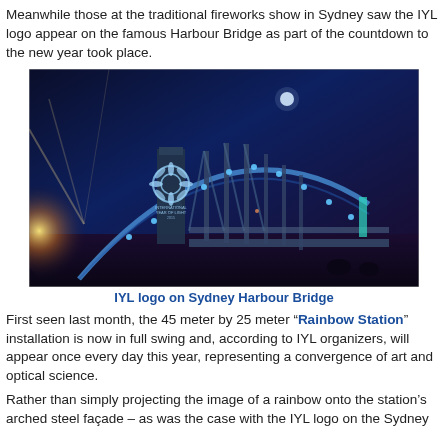Meanwhile those at the traditional fireworks show in Sydney saw the IYL logo appear on the famous Harbour Bridge as part of the countdown to the new year took place.
[Figure (photo): Night photo of Sydney Harbour Bridge lit up in blue lights with the IYL (International Year of Light) logo projected on a pylon, glowing against a dark blue night sky.]
IYL logo on Sydney Harbour Bridge
First seen last month, the 45 meter by 25 meter “Rainbow Station” installation is now in full swing and, according to IYL organizers, will appear once every day this year, representing a convergence of art and optical science.
Rather than simply projecting the image of a rainbow onto the station’s arched steel façade – as was the case with the IYL logo on the Sydney